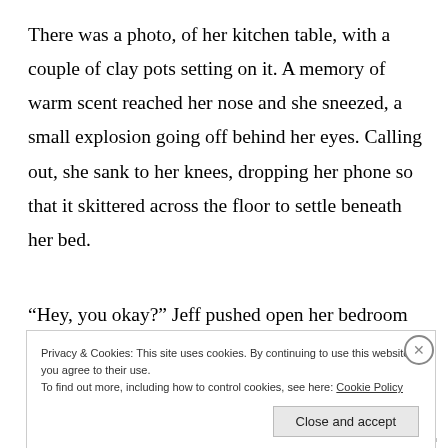There was a photo, of her kitchen table, with a couple of clay pots setting on it. A memory of warm scent reached her nose and she sneezed, a small explosion going off behind her eyes. Calling out, she sank to her knees, dropping her phone so that it skittered across the floor to settle beneath her bed.
“Hey, you okay?” Jeff pushed open her bedroom door
Privacy & Cookies: This site uses cookies. By continuing to use this website, you agree to their use.
To find out more, including how to control cookies, see here: Cookie Policy
Close and accept
wordpress.com